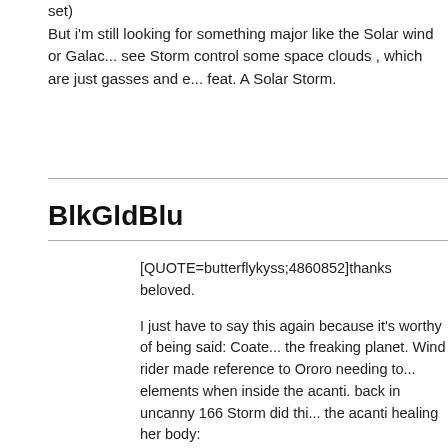set)
But i'm still looking for something major like the Solar wind or Galac... see Storm control some space clouds , which are just gasses and e... feat. A Solar Storm.
BlkGldBlu
[QUOTE=butterflykyss;4860852]thanks beloved.

I just have to say this again because it's worthy of being said: Coate... the freaking planet. Wind rider made reference to Ororo needing to... elements when inside the acanti. back in uncanny 166 Storm did thi... the acanti healing her body:

[img]https://2.bp.blogspot.com/71Tg6WeI96T-9bsG6vkRqtsF_aYkG... MrdskiyPndhgXAH8rs9by9ZWCx6G-RxQ6pxVFony0a=s1600[/img]

Since then we have had writers demonstrate her ability to use her p... specifically duffie; however, more modern writers wished to reduce h... to use her power:

[img]https://comicvine1.cbsistatic.com/uploads/original/7/75182/432... 41566.jpg[/img]

[img]https://i2.wp.com/www.adventuresinpoortaste.com/wp-content/uploads/2013/12/amazing-x-men-2-storm-no-lightning.png...